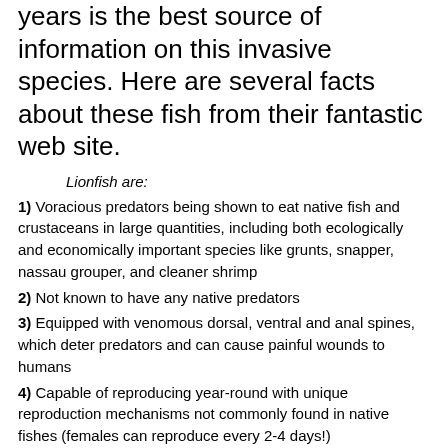years is the best source of information on this invasive species. Here are several facts about these fish from their fantastic web site.
Lionfish are:
1) Voracious predators being shown to eat native fish and crustaceans in large quantities, including both ecologically and economically important species like grunts, snapper, nassau grouper, and cleaner shrimp
2) Not known to have any native predators
3) Equipped with venomous dorsal, ventral and anal spines, which deter predators and can cause painful wounds to humans
4) Capable of reproducing year-round with unique reproduction mechanisms not commonly found in native fishes (females can reproduce every 2-4 days!)
5) Relatively resistant to parasites, giving them another advantage over native species
6) Fast in their growth, able to outgrow native species with whom they compete for food and space
Hook and line fishermen have it made in July! Snappers spawning, Dolphin